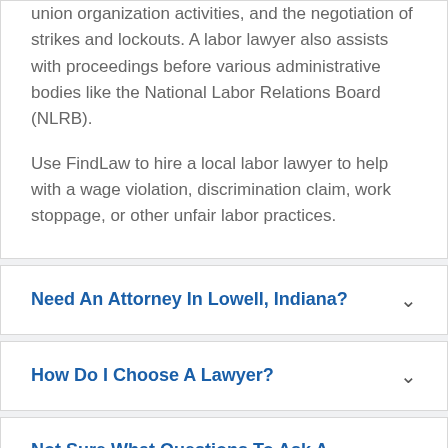union organization activities, and the negotiation of strikes and lockouts. A labor lawyer also assists with proceedings before various administrative bodies like the National Labor Relations Board (NLRB).
Use FindLaw to hire a local labor lawyer to help with a wage violation, discrimination claim, work stoppage, or other unfair labor practices.
Need An Attorney In Lowell, Indiana?
How Do I Choose A Lawyer?
Not Sure What Questions To Ask A Lawyer?